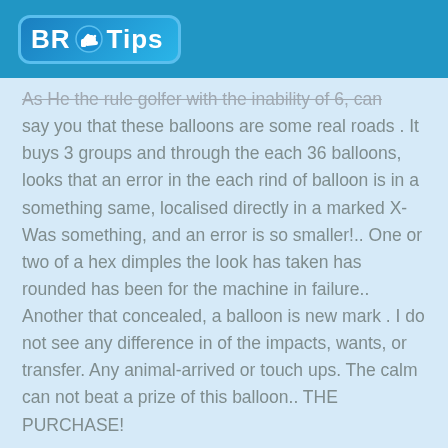BR Tips
As He the rule golfer with the inability of 6, can say you that these balloons are some real roads . It buys 3 groups and through the each 36 balloons, looks that an error in the each rind of balloon is in a something same, localised directly in a marked X-Was something, and an error is so smaller!.. One or two of a hex dimples the look has taken has rounded has been for the machine in failure.. Another that concealed, a balloon is new mark . I do not see any difference in of the impacts, wants, or transfer. Any animal-arrived or touch ups. The calm can not beat a prize of this balloon.. THE PURCHASE!